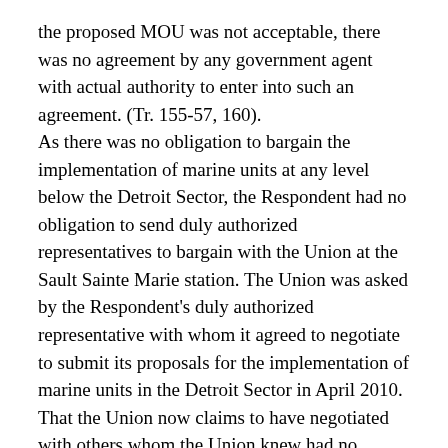the proposed MOU was not acceptable, there was no agreement by any government agent with actual authority to enter into such an agreement. (Tr. 155-57, 160).
As there was no obligation to bargain the implementation of marine units at any level below the Detroit Sector, the Respondent had no obligation to send duly authorized representatives to bargain with the Union at the Sault Sainte Marie station. The Union was asked by the Respondent's duly authorized representative with whom it agreed to negotiate to submit its proposals for the implementation of marine units in the Detroit Sector in April 2010. That the Union now claims to have negotiated with others whom the Union knew had no authority to negotiate and were not duly authorized representatives does not give the Union the right to now claim foul over the lack of qualifications possessed by those individuals. The Union was fully aware and had agreed to negotiate the implementation of marine units at the Detroit Sector level and it was the